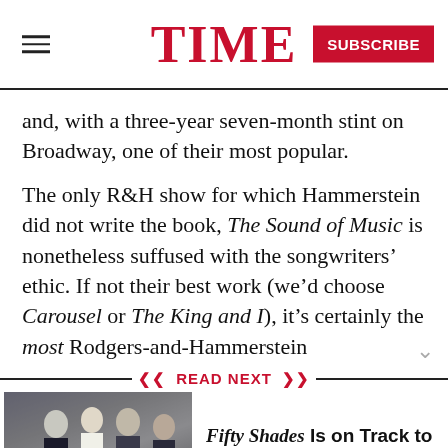TIME
and, with a three-year seven-month stint on Broadway, one of their most popular.
The only R&H show for which Hammerstein did not write the book, The Sound of Music is nonetheless suffused with the songwriters' ethic. If not their best work (we'd choose Carousel or The King and I), it's certainly the most Rodgers-and-Hammerstein
READ NEXT
Fifty Shades Is on Track to Earn $500 Million